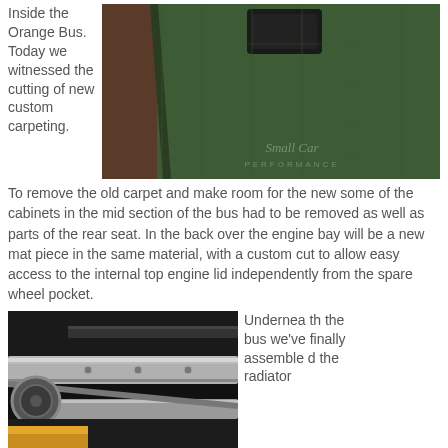Inside the Orange Bus. Today we witnessed the cutting of new custom carpeting.
[Figure (photo): Green carpet being cut or fitted, with a brown leather seat visible on the left. Small Car Performance watermark visible.]
To remove the old carpet and make room for the new some of the cabinets in the mid section of the bus had to be removed as well as parts of the rear seat. In the back over the engine bay will be a new mat piece in the same material, with a custom cut to allow easy access to the internal top engine lid independently from the spare wheel pocket.
[Figure (photo): Underneath the bus showing assembled metal radiator components, with bright metallic parts visible against a dark background.]
Underneath the bus we've finally assembled the radiator